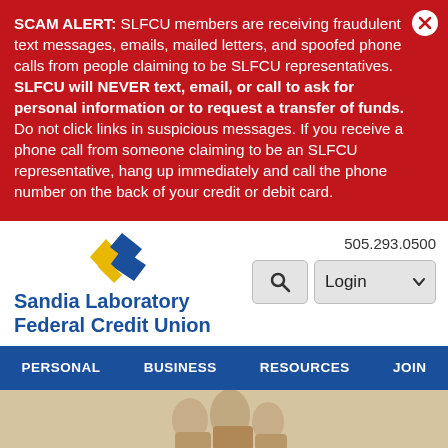SCAM ALERT: SLFCU members are receiving fraudulent text messages, emails, mailed letters, and spoofed phone calls from people claiming to be SLFCU representatives. SLFCU will NEVER text, email, or call to ask for personal information or to request a transfer of funds. Do not click links in suspicious messages. If you receive a phone call from someone claiming to be an SLFCU representative, hang up immediately and call the phone number on the back of your credit or debit card.
[Figure (logo): Sandia Laboratory Federal Credit Union logo with blue and gold diamond shapes]
505.293.0500
PERSONAL   BUSINESS   RESOURCES   JOIN
[Figure (photo): Photo of people at bottom of page]